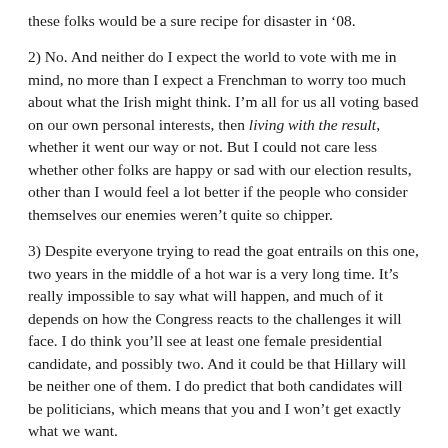these folks would be a sure recipe for disaster in ’08.
2) No. And neither do I expect the world to vote with me in mind, no more than I expect a Frenchman to worry too much about what the Irish might think. I’m all for us all voting based on our own personal interests, then living with the result, whether it went our way or not. But I could not care less whether other folks are happy or sad with our election results, other than I would feel a lot better if the people who consider themselves our enemies weren’t quite so chipper.
3) Despite everyone trying to read the goat entrails on this one, two years in the middle of a hot war is a very long time. It’s really impossible to say what will happen, and much of it depends on how the Congress reacts to the challenges it will face. I do think you’ll see at least one female presidential candidate, and possibly two. And it could be that Hillary will be neither one of them. I do predict that both candidates will be politicians, which means that you and I won’t get exactly what we want.
So there you are.